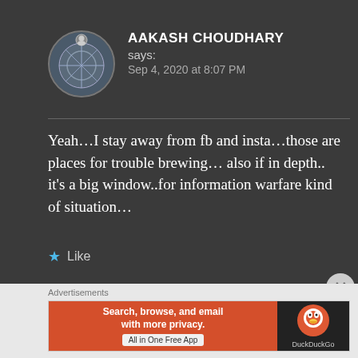[Figure (photo): Circular avatar image showing a NATO-related graphic with stars and military imagery, dark background]
AAKASH CHOUDHARY says: Sep 4, 2020 at 8:07 PM
Yeah…I stay away from fb and insta…those are places for trouble brewing… also if in depth.. it's a big window..for information warfare kind of situation…
★ Like
Advertisements
[Figure (screenshot): DuckDuckGo advertisement banner: orange left panel with text 'Search, browse, and email with more privacy. All in One Free App', dark right panel with DuckDuckGo logo]